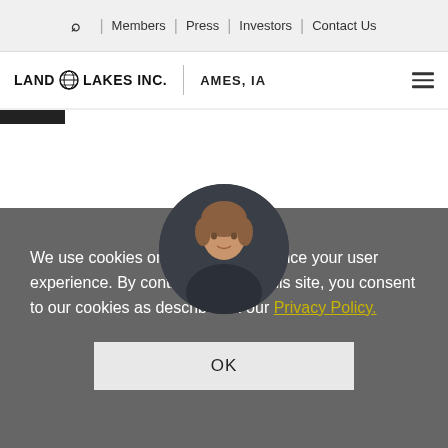🔍 | Members | Press | Investors | Contact Us
LAND O' LAKES INC. | AMES, IA
[Figure (photo): Circular portrait photo of a woman with short brown hair against a dark background, partially obscured by cookie consent overlay]
We use cookies on this site to enhance your user experience. By continuing to use this site, you consent to our cookies as described in our Privacy Policy.
OK